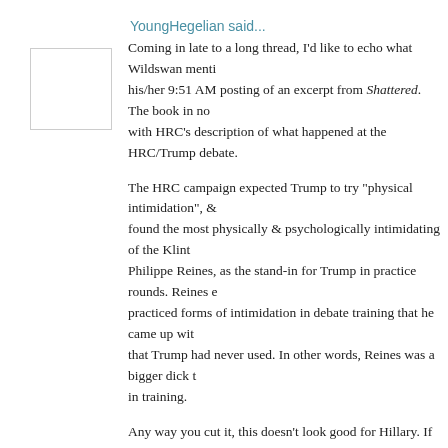YoungHegelian said...
Coming in late to a long thread, I'd like to echo what Wildswan mentioned in his/her 9:51 AM posting of an excerpt from Shattered. The book in no way meshes with HRC's description of what happened at the HRC/Trump debate.
The HRC campaign expected Trump to try "physical intimidation", & they found the most physically & psychologically intimidating of the Klintoon alumni, Philippe Reines, as the stand-in for Trump in practice rounds. Reines even practiced forms of intimidation in debate training that he came up with himself that Trump had never used. In other words, Reines was a bigger dick than Trump in training.
Any way you cut it, this doesn't look good for Hillary. If you're training to lift 200 lbs in competition, you train with 225. That's what Team Hillary did, but Hillary flubbed the lift. She's either unteachable (which I strongly suspect, considering her ham-handed attitude towards computer technology), teachable but just plain bad at retail political theater, or she's now intent upon seeing her past through a revisionist lens that borders on the delusional.
8/23/17, 5:42 PM